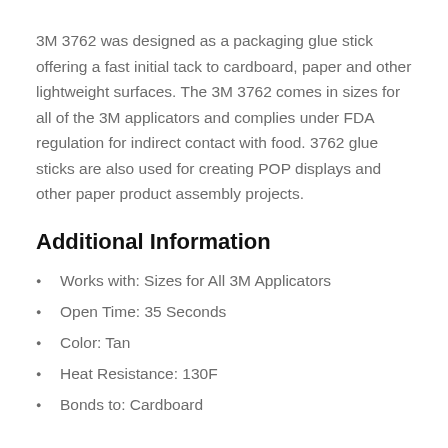3M 3762 was designed as a packaging glue stick offering a fast initial tack to cardboard, paper and other lightweight surfaces. The 3M 3762 comes in sizes for all of the 3M applicators and complies under FDA regulation for indirect contact with food. 3762 glue sticks are also used for creating POP displays and other paper product assembly projects.
Additional Information
Works with: Sizes for All 3M Applicators
Open Time: 35 Seconds
Color: Tan
Heat Resistance: 130F
Bonds to: Cardboard